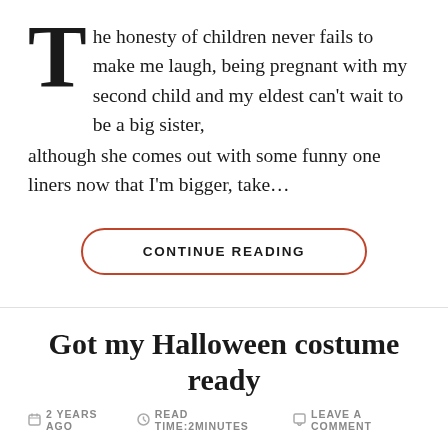The honesty of children never fails to make me laugh, being pregnant with my second child and my eldest can't wait to be a big sister, although she comes out with some funny one liners now that I'm bigger, take...
CONTINUE READING
Got my Halloween costume ready
2 YEARS AGO   READ TIME:2MINUTES   LEAVE A COMMENT
Day 737 of blurr Status of body/general appearance – well, it's Halloween coming up and the state of it...